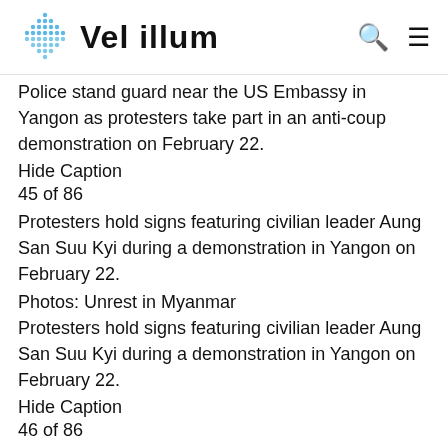Vel illum
Police stand guard near the US Embassy in Yangon as protesters take part in an anti-coup demonstration on February 22.
Hide Caption
45 of 86
Protesters hold signs featuring civilian leader Aung San Suu Kyi during a demonstration in Yangon on February 22.
Photos: Unrest in Myanmar
Protesters hold signs featuring civilian leader Aung San Suu Kyi during a demonstration in Yangon on February 22.
Hide Caption
46 of 86
Protesters gather for a demonstration on February 22.
Photos: Unrest in Myanmar